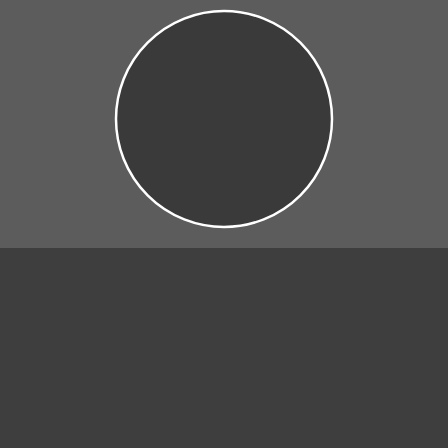[Figure (illustration): A large dark circle with a thin white border outline, centered on a medium gray background in the upper half of the page]
STARTSEITE
ÜBER UNS
INFORMATIONEN
KATZEN ▾
KATER ▾
KITTEN ▾
SHOWS ▾
MITBEWOHNER ▾
GALERIE
KONTAKT
LINKS